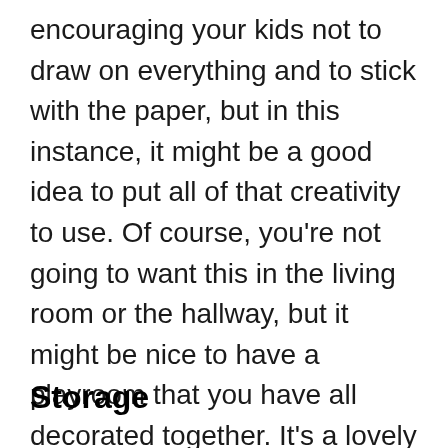encouraging your kids not to draw on everything and to stick with the paper, but in this instance, it might be a good idea to put all of that creativity to use. Of course, you're not going to want this in the living room or the hallway, but it might be nice to have a playroom that you have all decorated together. It's a lovely reminder of the fun that you have had as a family, and you get to see it every single time you go into the playroom. This saves a lot of money on decorating at the very least!
Storage